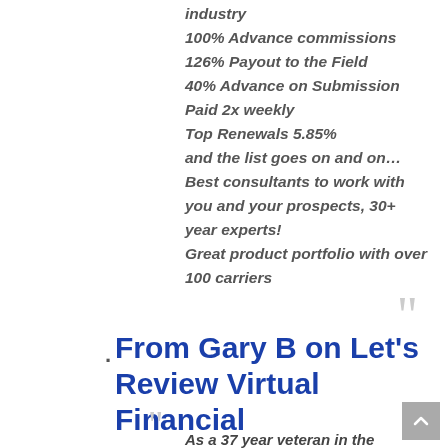industry
100% Advance commissions
126% Payout to the Field
40% Advance on Submission
Paid 2x weekly
Top Renewals 5.85%
and the list goes on and on…
Best consultants to work with you and your prospects, 30+ year experts!
Great product portfolio with over 100 carriers
From Gary B on Let's Review Virtual Financial
As a 37 year veteran in the financial services industry who has traveled